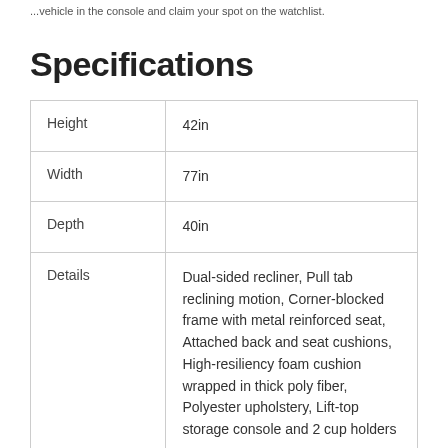...vehicle in the console and claim your spot on the watchlist.
Specifications
| Height | 42in |
| Width | 77in |
| Depth | 40in |
| Details | Dual-sided recliner, Pull tab reclining motion, Corner-blocked frame with metal reinforced seat, Attached back and seat cushions, High-resiliency foam cushion wrapped in thick poly fiber, Polyester upholstery, Lift-top storage console and 2 cup holders |